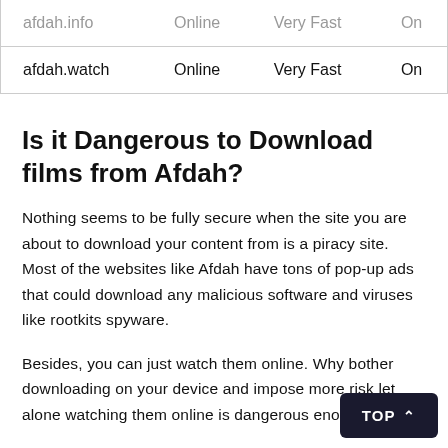| afdah.info | Online | Very Fast | On |
| afdah.watch | Online | Very Fast | On |
Is it Dangerous to Download films from Afdah?
Nothing seems to be fully secure when the site you are about to download your content from is a piracy site. Most of the websites like Afdah have tons of pop-up ads that could download any malicious software and viruses like rootkits spyware.
Besides, you can just watch them online. Why bother downloading on your device and impose more risk let alone watching them online is dangerous enou…